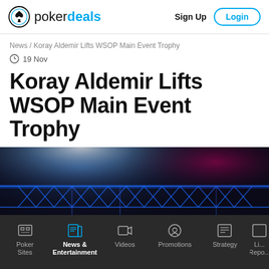pokerdeals — Sign Up  Login
News / Koray Aldemir Lifts WSOP Main Event Trophy
19 Nov
Koray Aldemir Lifts WSOP Main Event Trophy
[Figure (photo): Dark stage photo with blue neon truss lighting, appears to be a live poker event venue]
Poker Sites  News & Entertainment  Videos  Promotions  Strategy  Li... Repo...